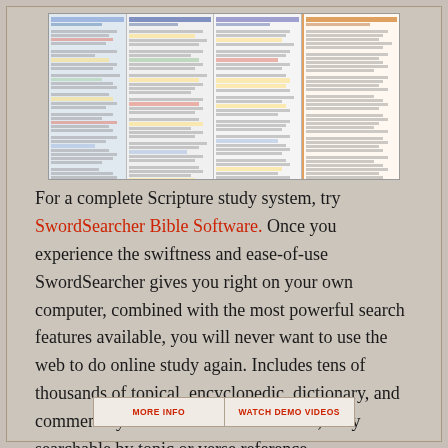[Figure (screenshot): Screenshot of SwordSearcher Bible Software interface showing multiple panels with Bible study tools, search results, and commentary text with highlighted passages in yellow and other colors.]
For a complete Scripture study system, try SwordSearcher Bible Software. Once you experience the swiftness and ease-of-use SwordSearcher gives you right on your own computer, combined with the most powerful search features available, you will never want to use the web to do online study again. Includes tens of thousands of topical, encyclopedic, dictionary, and commentary entries all linked to verses, fully searchable by topic or verse reference.